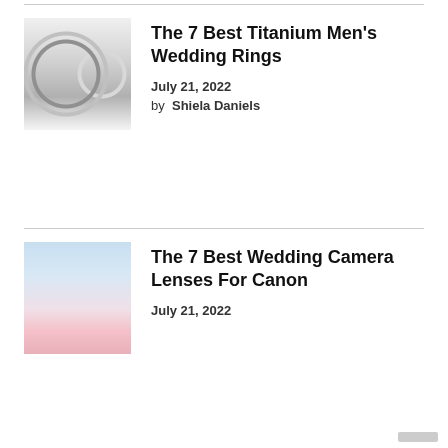[Figure (photo): Close-up photo of titanium wedding rings with diamond accents on a book]
The 7 Best Titanium Men’s Wedding Rings
July 21, 2022
by  Shiela Daniels
[Figure (photo): Wedding photographer photographing a couple, bride in a pink dress]
The 7 Best Wedding Camera Lenses For Canon
July 21, 2022